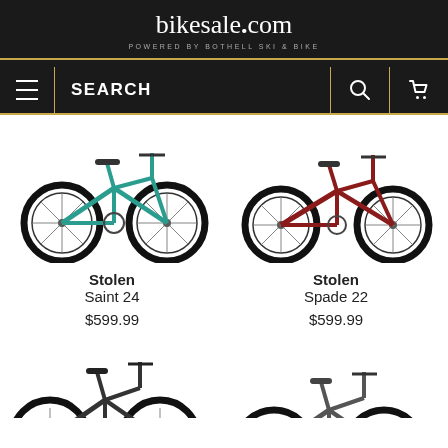bikesale.com — POWERED BY BOTHELL SKI & BIKE
[Figure (screenshot): Navigation bar with hamburger menu, SEARCH label, search icon, and cart icon on dark background]
[Figure (photo): Teal/green BMX-style bike (Stolen Saint 24) on white background]
Stolen
Saint 24
$599.99
[Figure (photo): Dark red/maroon BMX-style bike (Stolen Spade 22) on white background]
Stolen
Spade 22
$599.99
[Figure (photo): Black BMX-style bike (partially visible) in bottom-left]
[Figure (photo): Another bike (partially visible) in bottom-right]